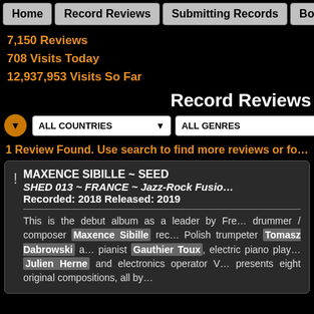Home | Record Reviews | Submitting Records | Book C…
7,150 Reviews
708 Visits Today
12,937,953 Visits So Far
Record Reviews
ALL COUNTRIES | ALL GENRES | Arti…
1 Review Found. Use search to find more reviews or fo…
MAXENCE SIBILLE ~ SEED
SHED 013 ~ FRANCE ~ Jazz-Rock Fusio…
Recorded: 2018 Released: 2019
This is the debut album as a leader by Fre… drummer / composer Maxence Sibille rec… Polish trumpeter Tomasz Dabrowski a… pianist Gauthier Toux, electric piano play… Julien Herne and electronics operator V… presents eight original compositions, all by…